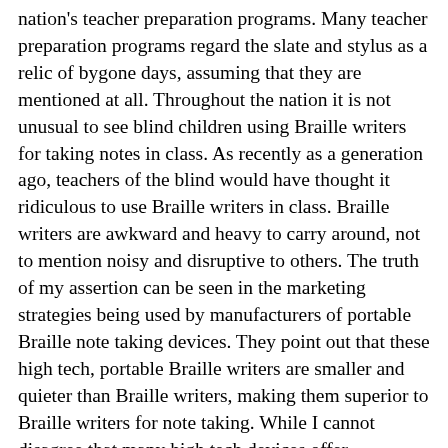nation's teacher preparation programs. Many teacher preparation programs regard the slate and stylus as a relic of bygone days, assuming that they are mentioned at all. Throughout the nation it is not unusual to see blind children using Braille writers for taking notes in class. As recently as a generation ago, teachers of the blind would have thought it ridiculous to use Braille writers in class. Braille writers are awkward and heavy to carry around, not to mention noisy and disruptive to others. The truth of my assertion can be seen in the marketing strategies being used by manufacturers of portable Braille note taking devices. They point out that these high tech, portable Braille writers are smaller and quieter than Braille writers, making them superior to Braille writers for note taking. While I cannot disagree that many high tech devices offer advantages over lugging a Braille writer from class to class, it strikes me as significant that the profession does not automatically recognize the important role that the slate and stylus play in personal note-taking. The slate is certainly more economical $10.00 as compared to $1,000.00 or more and is still the smallest and most portable note-taking device. The battery never gives out and I have never known a slate